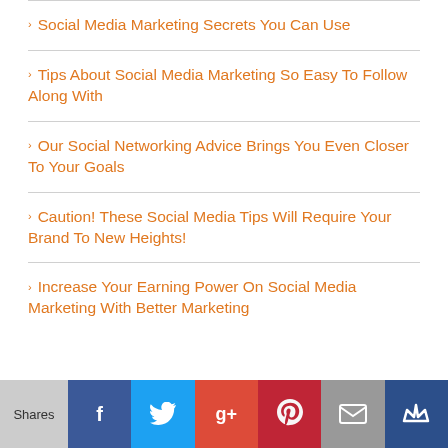Social Media Marketing Secrets You Can Use
Tips About Social Media Marketing So Easy To Follow Along With
Our Social Networking Advice Brings You Even Closer To Your Goals
Caution! These Social Media Tips Will Require Your Brand To New Heights!
Increase Your Earning Power On Social Media Marketing With Better Marketing